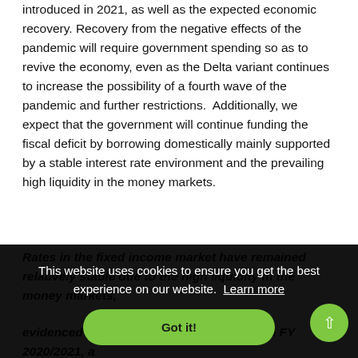introduced in 2021, as well as the expected economic recovery. Recovery from the negative effects of the pandemic will require government spending so as to revive the economy, even as the Delta variant continues to increase the possibility of a fourth wave of the pandemic and further restrictions.  Additionally, we expect that the government will continue funding the fiscal deficit by borrowing domestically mainly supported by a stable interest rate environment and the prevailing high liquidity in the money markets.
Rates in the fixed income market have remained relatively stable due to the high liquidity in the money markets,
evidenced by KRA collecting Kshs 1.7 tn in FY 2020/2021, a